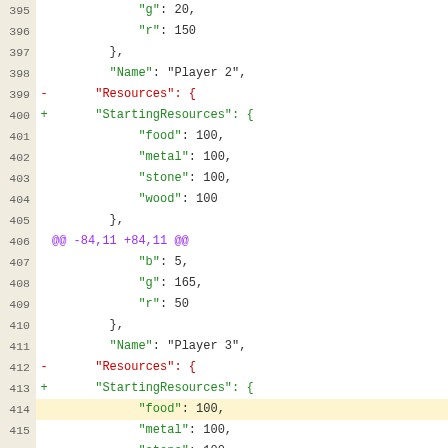[Figure (screenshot): Code diff view showing JSON file changes with line numbers 395-419, featuring renamed key 'Resources' to 'StartingResources' for Player 2 and Player 3, with diff markers and syntax highlighting.]